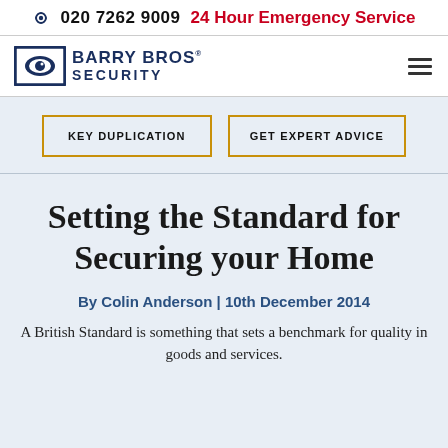020 7262 9009  24 Hour Emergency Service
[Figure (logo): Barry Bros Security logo with eye icon]
KEY DUPLICATION
GET EXPERT ADVICE
Setting the Standard for Securing your Home
By Colin Anderson | 10th December 2014
A British Standard is something that sets a benchmark for quality in goods and services.